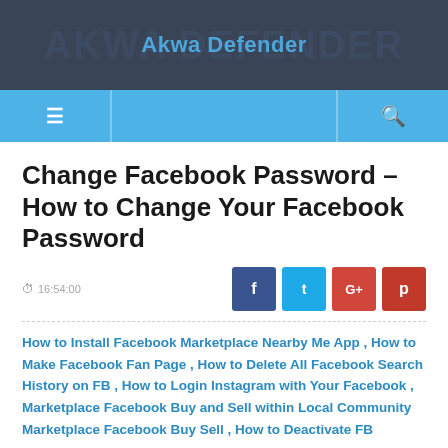Akwa Defender
Change Facebook Password – How to Change Your Facebook Password
16:54:00
How to Install Facebook Marketplace Nearby Me App , How to Make Facebook Fan Page , How to Delete All Facebook Search History on FB , How to Login Instagram with Your Facebook , Marketplace Facebook Buy and Sell within Local Community Marketplace Facebook Buy Sell , How to Deactivate FB